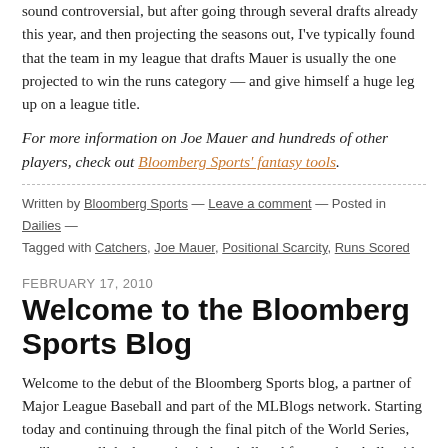sound controversial, but after going through several drafts already this year, and then projecting the seasons out, I've typically found that the team in my league that drafts Mauer is usually the one projected to win the runs category — and give himself a huge leg up on a league title.
For more information on Joe Mauer and hundreds of other players, check out Bloomberg Sports' fantasy tools.
Written by Bloomberg Sports — Leave a comment — Posted in Dailies — Tagged with Catchers, Joe Mauer, Positional Scarcity, Runs Scored
FEBRUARY 17, 2010
Welcome to the Bloomberg Sports Blog
Welcome to the debut of the Bloomberg Sports blog, a partner of Major League Baseball and part of the MLBlogs network. Starting today and continuing through the final pitch of the World Series, we'll cover all the hot topics in baseball and fantasy baseball, with the help of Bloomberg Sports' proprietary software and analytics.